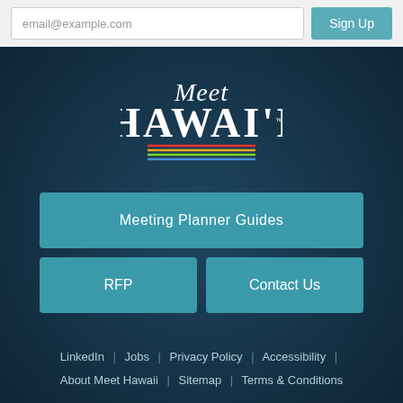[Figure (screenshot): Email signup bar with email@example.com placeholder input and Sign Up button]
[Figure (logo): Meet Hawai'i logo in white on dark teal background with rainbow underline]
Meeting Planner Guides
RFP
Contact Us
LinkedIn | Jobs | Privacy Policy | Accessibility | About Meet Hawaii | Sitemap | Terms & Conditions